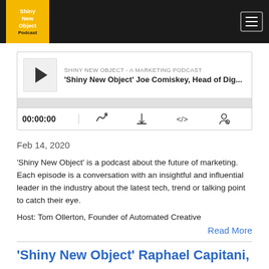Shiny New Object Podcast - navigation bar
[Figure (screenshot): Podcast audio player widget showing episode 'Shiny New Object' Joe Comiskey, Head of Dig... with play button, progress bar, timer 00:00:00, and control icons]
Feb 14, 2020
'Shiny New Object' is a podcast about the future of marketing. Each episode is a conversation with an insightful and influential leader in the industry about the latest tech, trend or talking point to catch their eye.
Host: Tom Ollerton, Founder of Automated Creative
Read More
'Shiny New Object' Raphael Capitani,